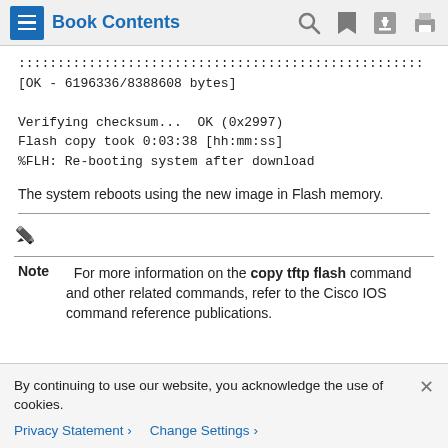Book Contents
:::::::::::::::::::::::::::::::::::::::::::::::::::::
[OK - 6196336/8388608 bytes]

Verifying checksum...  OK (0x2997)
Flash copy took 0:03:38 [hh:mm:ss]
%FLH: Re-booting system after download
The system reboots using the new image in Flash memory.
Note  For more information on the copy tftp flash command and other related commands, refer to the Cisco IOS command reference publications.
By continuing to use our website, you acknowledge the use of cookies.
Privacy Statement > Change Settings >